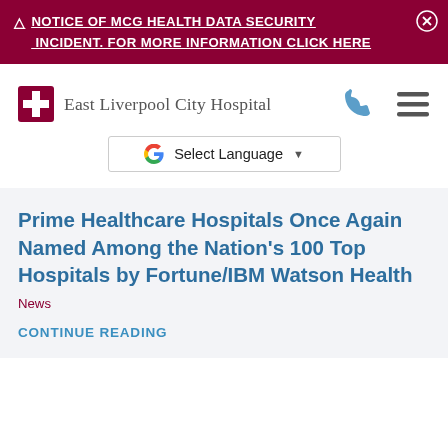⚠ NOTICE OF MCG HEALTH DATA SECURITY INCIDENT. FOR MORE INFORMATION CLICK HERE
[Figure (logo): East Liverpool City Hospital logo with red cross icon and hospital name in serif font]
[Figure (other): Google Translate 'Select Language' dropdown widget]
Prime Healthcare Hospitals Once Again Named Among the Nation's 100 Top Hospitals by Fortune/IBM Watson Health
News
CONTINUE READING